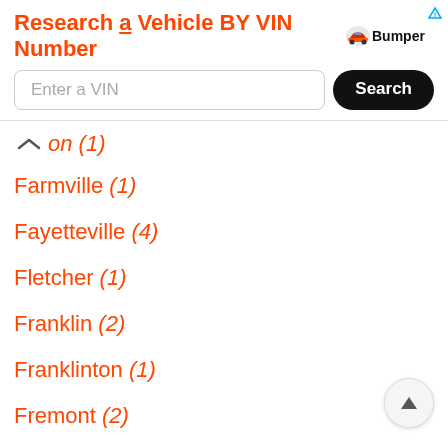[Figure (screenshot): Bumper VIN search advertisement banner with orange title 'Research a Vehicle BY VIN Number', Bumper logo, search input field 'Enter a VIN', and black Search button]
on (1)
Farmville (1)
Fayetteville (4)
Fletcher (1)
Franklin (2)
Franklinton (1)
Fremont (2)
Fuquay Varina (3)
Garner (3)
Gastonia (3)